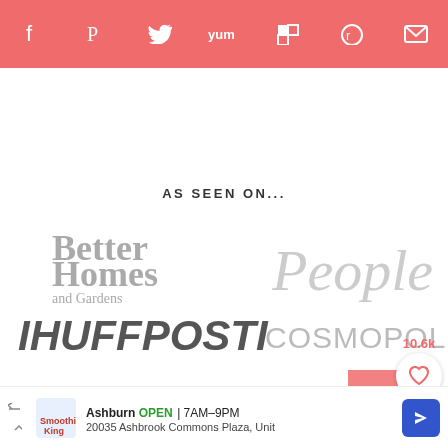Social share bar with icons: Facebook, Pinterest, Twitter, Yummly, Flipboard, Reddit, Email
AS SEEN ON...
[Figure (logo): Better Homes and Gardens logo in grey]
[Figure (logo): People magazine logo in grey]
[Figure (logo): IHUFFPOSTI logo in dark grey italic]
[Figure (logo): COSMOPOLITAN logo in grey]
[Figure (logo): Southern Living logo in grey]
[Figure (logo): fitness magazine logo in grey]
[Figure (infographic): 10.6k heart/save button and search button overlay]
[Figure (infographic): Advertisement bar: Smoothie King Ashburn OPEN 7AM-9PM 20035 Ashbrook Commons Plaza, Unit with navigation arrow]